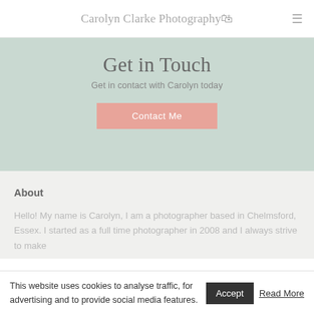Carolyn Clarke Photography
Get in Touch
Get in contact with Carolyn today
Contact Me
About
Hello! My name is Carolyn, I am a photographer based in Chelmsford, Essex. I started as a full time photographer in 2008 and I always strive to make
This website uses cookies to analyse traffic, for advertising and to provide social media features. Accept Read More